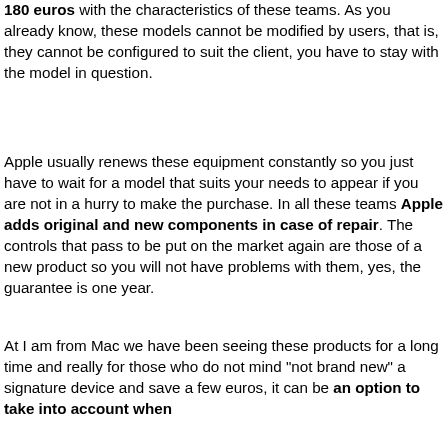180 euros with the characteristics of these teams. As you already know, these models cannot be modified by users, that is, they cannot be configured to suit the client, you have to stay with the model in question.
Apple usually renews these equipment constantly so you just have to wait for a model that suits your needs to appear if you are not in a hurry to make the purchase. In all these teams Apple adds original and new components in case of repair. The controls that pass to be put on the market again are those of a new product so you will not have problems with them, yes, the guarantee is one year.
At I am from Mac we have been seeing these products for a long time and really for those who do not mind "not brand new" a signature device and save a few euros, it can be an option to take into account when